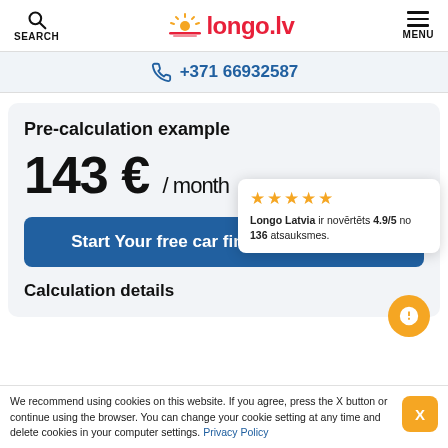SEARCH | longo.lv | MENU
+371 66932587
Pre-calculation example
143 € / month
Start Your free car finance application
Longo Latvia ir novērtēts 4.9/5 no 136 atsauksmes.
Calculation details
We recommend using cookies on this website. If you agree, press the X button or continue using the browser. You can change your cookie setting at any time and delete cookies in your computer settings. Privacy Policy